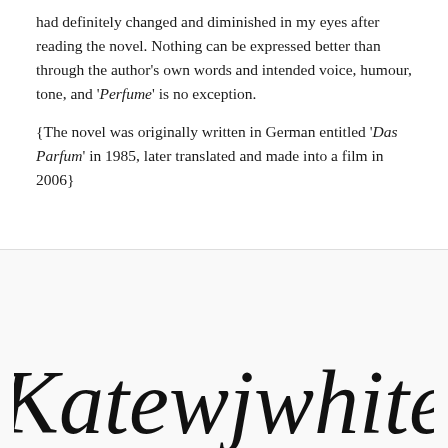had definitely changed and diminished in my eyes after reading the novel. Nothing can be expressed better than through the author's own words and intended voice, humour, tone, and 'Perfume' is no exception.

{The novel was originally written in German entitled 'Das Parfum' in 1985, later translated and made into a film in 2006}
[Figure (illustration): Handwritten cursive signature reading 'Katewjwhite' in large black script]